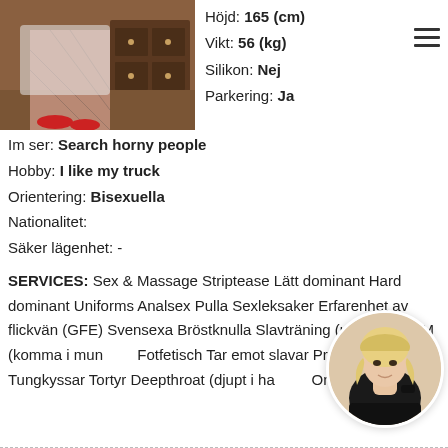[Figure (photo): Main profile photo showing person in fishnet stockings with red shoes near wooden furniture]
Höjd: 165 (cm)
Vikt: 56 (kg)
Silikon: Nej
Parkering: Ja
Im ser: Search horny people
Hobby: I like my truck
Orientering: Bisexuella
Nationalitet:
Säker lägenhet: -
SERVICES: Sex & Massage Striptease Lätt dominant Hard dominant Uniforms Analsex Pulla Sexleksaker Erfarenhet av flickvän (GFE) Svensexa Bröstknulla Slavträning (urination) CIM (komma i munnen) Fotfetisch Tar emot slavar Prostatemassage Tungkyssar Tortyr Deepthroat (djupt i halsen) Onani
[Figure (photo): Circular avatar photo of blonde woman in black outfit]